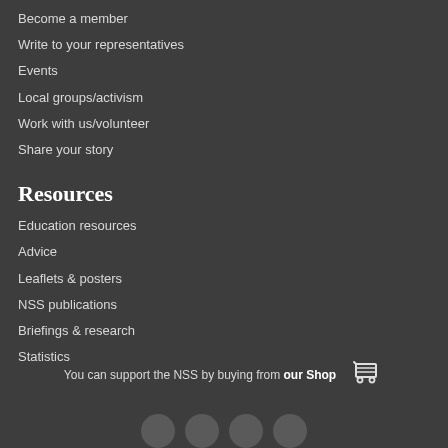Become a member
Write to your representatives
Events
Local groups/activism
Work with us/volunteer
Share your story
Resources
Education resources
Advice
Leaflets & posters
NSS publications
Briefings & research
Statistics
You can support the NSS by buying from our Shop
[Figure (illustration): Shopping cart icon]